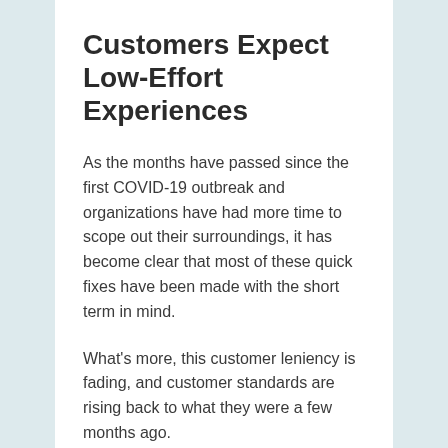Customers Expect Low-Effort Experiences
As the months have passed since the first COVID-19 outbreak and organizations have had more time to scope out their surroundings, it has become clear that most of these quick fixes have been made with the short term in mind.
What’s more, this customer leniency is fading, and customer standards are rising back to what they were a few months ago.